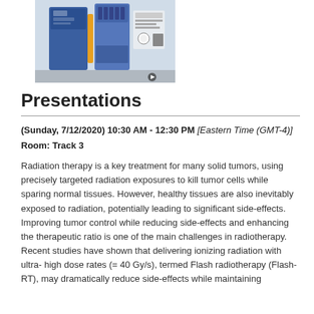[Figure (photo): Photo of a radiation therapy machine, appears to be a blue medical linear accelerator or similar equipment]
Presentations
(Sunday, 7/12/2020) 10:30 AM - 12:30 PM [Eastern Time (GMT-4)]
Room: Track 3
Radiation therapy is a key treatment for many solid tumors, using precisely targeted radiation exposures to kill tumor cells while sparing normal tissues. However, healthy tissues are also inevitably exposed to radiation, potentially leading to significant side-effects. Improving tumor control while reducing side-effects and enhancing the therapeutic ratio is one of the main challenges in radiotherapy. Recent studies have shown that delivering ionizing radiation with ultra- high dose rates (= 40 Gy/s), termed Flash radiotherapy (Flash-RT), may dramatically reduce side-effects while maintaining